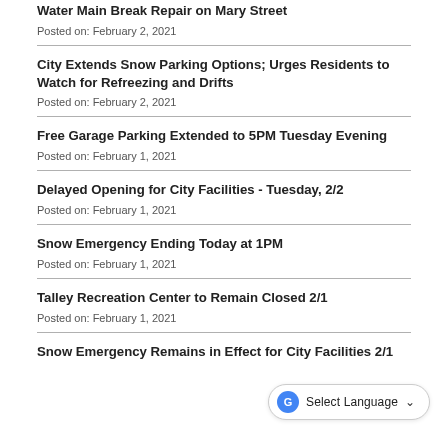Water Main Break Repair on Mary Street
Posted on: February 2, 2021
City Extends Snow Parking Options; Urges Residents to Watch for Refreezing and Drifts
Posted on: February 2, 2021
Free Garage Parking Extended to 5PM Tuesday Evening
Posted on: February 1, 2021
Delayed Opening for City Facilities - Tuesday, 2/2
Posted on: February 1, 2021
Snow Emergency Ending Today at 1PM
Posted on: February 1, 2021
Talley Recreation Center to Remain Closed 2/1
Posted on: February 1, 2021
Snow Emergency Remains in Effect for City Facilities 2/1